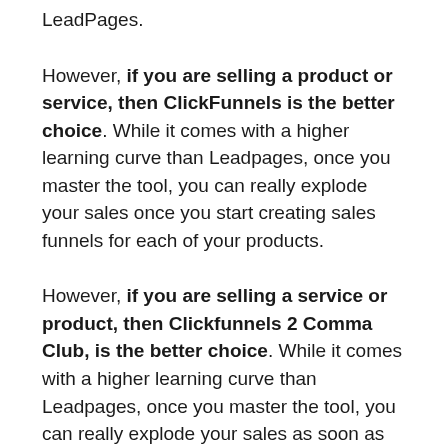LeadPages.
However, if you are selling a product or service, then ClickFunnels is the better choice. While it comes with a higher learning curve than Leadpages, once you master the tool, you can really explode your sales once you start creating sales funnels for each of your products.
However, if you are selling a service or product, then Clickfunnels 2 Comma Club, is the better choice. While it comes with a higher learning curve than Leadpages, once you master the tool, you can really explode your sales as soon as you begin creating sales funnels for each of your products.